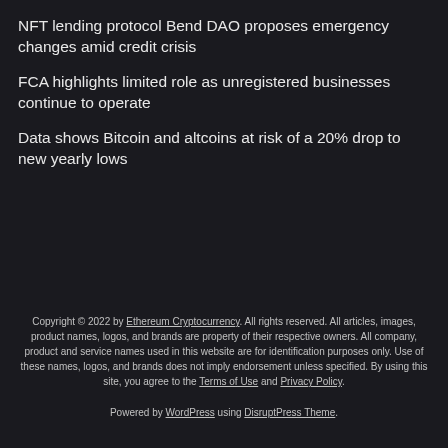NFT lending protocol Bend DAO proposes emergency changes amid credit crisis
FCA highlights limited role as unregistered businesses continue to operate
Data shows Bitcoin and altcoins at risk of a 20% drop to new yearly lows
Copyright © 2022 by Ethereum Cryptocurrency. All rights reserved. All articles, images, product names, logos, and brands are property of their respective owners. All company, product and service names used in this website are for identification purposes only. Use of these names, logos, and brands does not imply endorsement unless specified. By using this site, you agree to the Terms of Use and Privacy Policy.
Powered by WordPress using DisruptPress Theme.